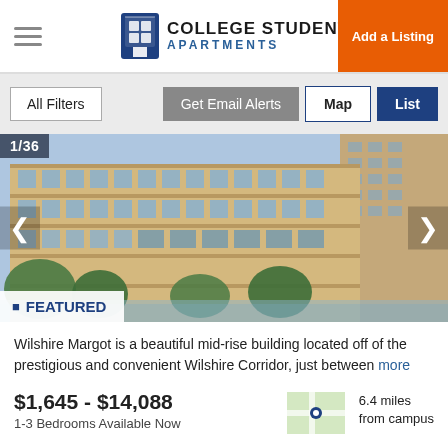COLLEGE STUDENT APARTMENTS | Add a Listing
All Filters | Get Email Alerts | Map | List
[Figure (photo): Exterior photo of Wilshire Margot mid-rise apartment building, showing a modern tan/beige building with multiple floors and balconies, trees in foreground, blue sky background. Counter shows 1/36.]
FEATURED
Wilshire Margot is a beautiful mid-rise building located off of the prestigious and convenient Wilshire Corridor, just between more
$1,645 - $14,088
1-3 Bedrooms Available Now
6.4 miles from campus